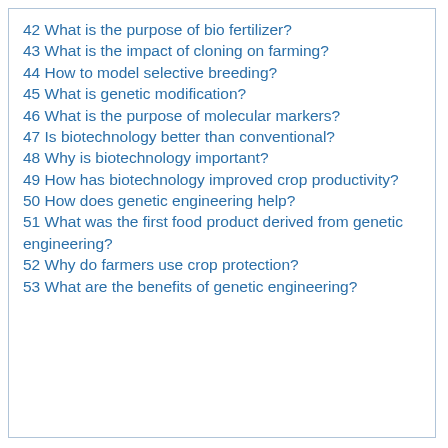42 What is the purpose of bio fertilizer?
43 What is the impact of cloning on farming?
44 How to model selective breeding?
45 What is genetic modification?
46 What is the purpose of molecular markers?
47 Is biotechnology better than conventional?
48 Why is biotechnology important?
49 How has biotechnology improved crop productivity?
50 How does genetic engineering help?
51 What was the first food product derived from genetic engineering?
52 Why do farmers use crop protection?
53 What are the benefits of genetic engineering?